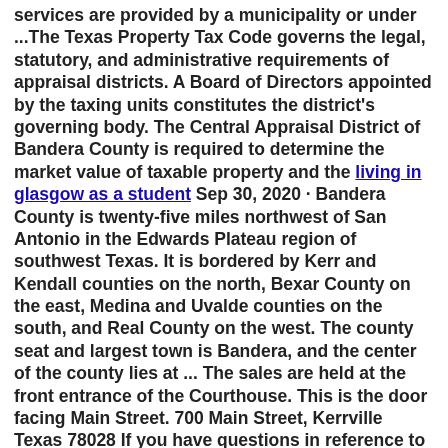services are provided by a municipality or under ...The Texas Property Tax Code governs the legal, statutory, and administrative requirements of appraisal districts. A Board of Directors appointed by the taxing units constitutes the district's governing body. The Central Appraisal District of Bandera County is required to determine the market value of taxable property and the living in glasgow as a student Sep 30, 2020 · Bandera County is twenty-five miles northwest of San Antonio in the Edwards Plateau region of southwest Texas. It is bordered by Kerr and Kendall counties on the north, Bexar County on the east, Medina and Uvalde counties on the south, and Real County on the west. The county seat and largest town is Bandera, and the center of the county lies at ... The sales are held at the front entrance of the Courthouse. This is the door facing Main Street. 700 Main Street, Kerrville Texas 78028 If you have questions in reference to any information on this page please contact the County Clerk. If you have questions about the property or the sale, please